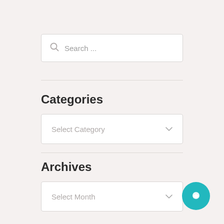[Figure (other): Search input box with magnifying glass icon and placeholder text 'Search ...']
Categories
[Figure (other): Dropdown select box with placeholder text 'Select Category' and chevron arrow]
Archives
[Figure (other): Dropdown select box with placeholder text 'Select Month' and chevron arrow]
[Figure (other): Teal circular chat/messenger button in bottom right corner]